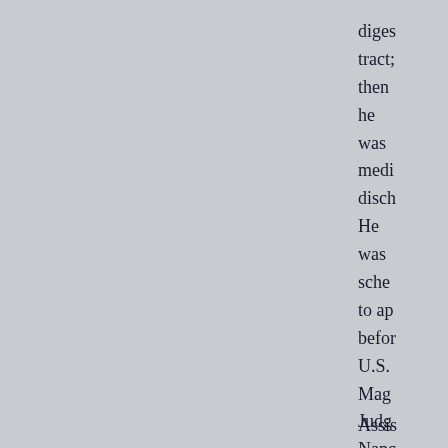diges tract; then he was medi disch He was sche to ap befo U.S. Mag Judg Nanc John Aug. 16.
Assi